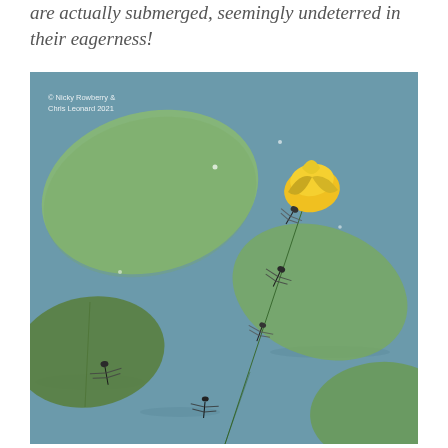are actually submerged, seemingly undeterred in their eagerness!
[Figure (photo): Photograph of damselflies mating on a yellow water lily bud (Yellow Water-lily / Nuphar) rising from a pond with lily pads floating on the surface. Multiple damselfly pairs are visible clinging to the stem and bud. Photo credit: © Nicky Rowberry & Chris Leonard 2021]